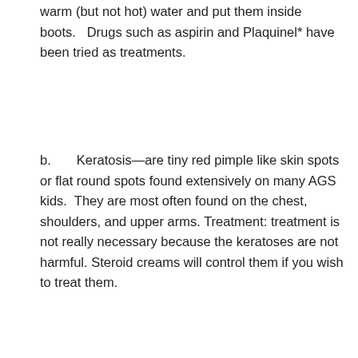warm (but not hot) water and put them inside boots.   Drugs such as aspirin and Plaquinel* have been tried as treatments.
b.       Keratosis—are tiny red pimple like skin spots or flat round spots found extensively on many AGS kids.  They are most often found on the chest, shoulders, and upper arms. Treatment: treatment is not really necessary because the keratoses are not harmful. Steroid creams will control them if you wish to treat them.
Some families have reported that